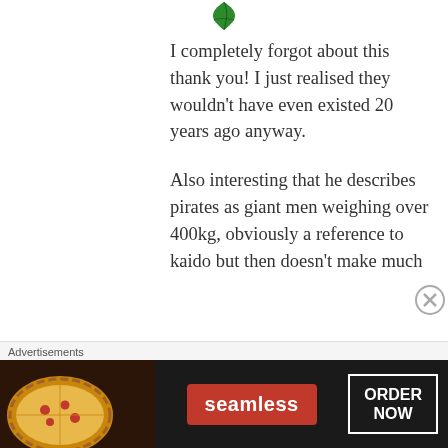[Figure (logo): Green leaf/cannabis-style logo icon at the top center]
I completely forgot about this thank you! I just realised they wouldn't have even existed 20 years ago anyway.
Also interesting that he describes pirates as giant men weighing over 400kg, obviously a reference to kaido but then doesn't make much
Advertisements
[Figure (screenshot): Seamless food delivery advertisement banner with pizza image on left, Seamless logo in red badge in center, and ORDER NOW button on right, dark background]